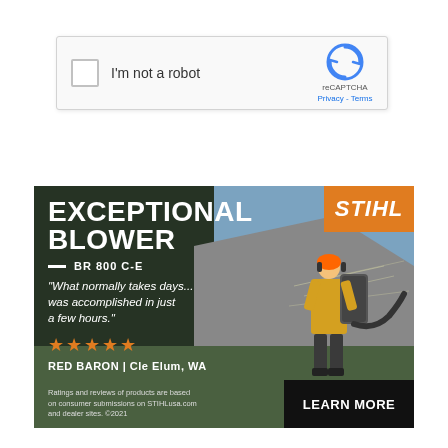[Figure (screenshot): reCAPTCHA widget showing a checkbox labeled 'I'm not a robot' with the reCAPTCHA logo and Privacy/Terms links]
[Figure (other): Two orange buttons labeled 'CREATE COMMENT' and 'RESET']
[Figure (other): STIHL advertisement banner for the BR 800 C-E backpack blower. Shows a person using a backpack blower outdoors. Text: EXCEPTIONAL BLOWER BR 800 C-E. Quote: What normally takes days... was accomplished in just a few hours. 5 stars. RED BARON | Cle Elum, WA. STIHL logo. LEARN MORE button. Disclaimer: Ratings and reviews of products are based on consumer submissions on STIHLusa.com and dealer sites. ©2021]